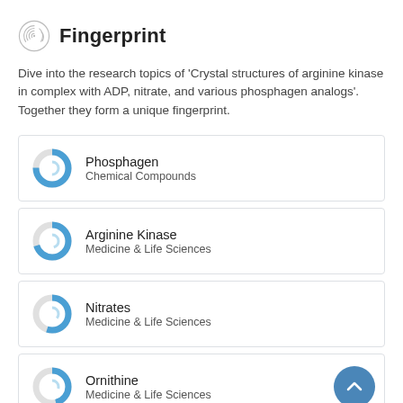Fingerprint
Dive into the research topics of 'Crystal structures of arginine kinase in complex with ADP, nitrate, and various phosphagen analogs'. Together they form a unique fingerprint.
[Figure (infographic): Donut chart badge for Phosphagen, Chemical Compounds]
Phosphagen
Chemical Compounds
[Figure (infographic): Donut chart badge for Arginine Kinase, Medicine & Life Sciences]
Arginine Kinase
Medicine & Life Sciences
[Figure (infographic): Donut chart badge for Nitrates, Medicine & Life Sciences]
Nitrates
Medicine & Life Sciences
[Figure (infographic): Donut chart badge for Ornithine, Medicine & Life Sciences]
Ornithine
Medicine & Life Sciences